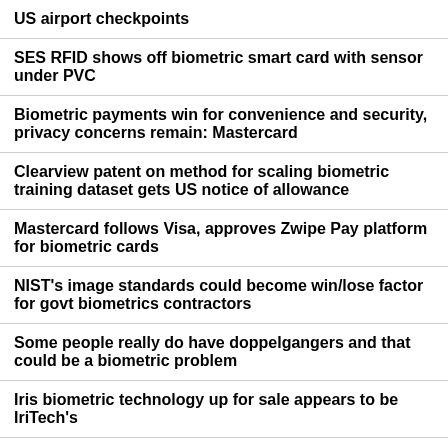US airport checkpoints
SES RFID shows off biometric smart card with sensor under PVC
Biometric payments win for convenience and security, privacy concerns remain: Mastercard
Clearview patent on method for scaling biometric training dataset gets US notice of allowance
Mastercard follows Visa, approves Zwipe Pay platform for biometric cards
NIST's image standards could become win/lose factor for govt biometrics contractors
Some people really do have doppelgangers and that could be a biometric problem
Iris biometric technology up for sale appears to be IriTech's
Software startup in UK gets key certificate for digital ID and background checks